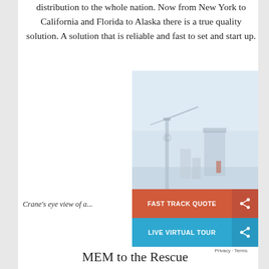distribution to the whole nation. Now from New York to California and Florida to Alaska there is a true quality solution. A solution that is reliable and fast to set and start up.
[Figure (photo): Crane's eye view of an industrial facility, showing structures and equipment from above, with a pale blue sky background.]
Crane’s eye view of a...
FAST TRACK QUOTE
LIVE VIRTUAL TOUR
Privacy • Terms
MEM to the Rescue